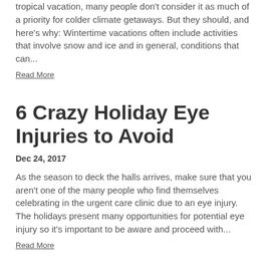tropical vacation, many people don't consider it as much of a priority for colder climate getaways. But they should, and here's why: Wintertime vacations often include activities that involve snow and ice and in general, conditions that can...
Read More
6 Crazy Holiday Eye Injuries to Avoid
Dec 24, 2017
As the season to deck the halls arrives, make sure that you aren't one of the many people who find themselves celebrating in the urgent care clinic due to an eye injury. The holidays present many opportunities for potential eye injury so it's important to be aware and proceed with...
Read More
10 Eye Healthy Foods to Eat This Year